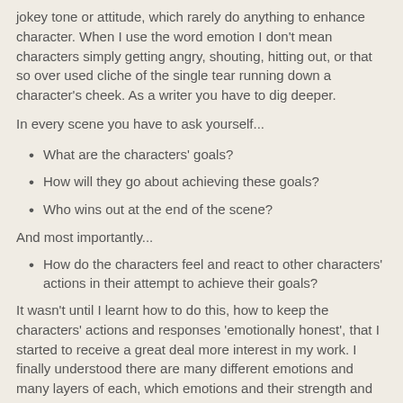jokey tone or attitude, which rarely do anything to enhance character. When I use the word emotion I don't mean characters simply getting angry, shouting, hitting out, or that so over used cliche of the single tear running down a character's cheek. As a writer you have to dig deeper.
In every scene you have to ask yourself...
What are the characters' goals?
How will they go about achieving these goals?
Who wins out at the end of the scene?
And most importantly...
How do the characters feel and react to other characters' actions in their attempt to achieve their goals?
It wasn't until I learnt how to do this, how to keep the characters' actions and responses 'emotionally honest', that I started to receive a great deal more interest in my work. I finally understood there are many different emotions and many layers of each, which emotions and their strength and